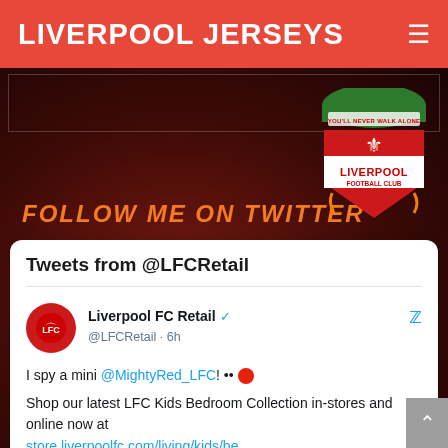LIVERPOOL JERSEYS
[Figure (screenshot): Website screenshot showing a Twitter/social media embed on a Liverpool FC themed dark red background. Includes LFC crest, 'FOLLOW ME ON TWITTER' orange italic text, and a Twitter card showing @LFCRetail tweet about LFC Kids Bedroom Collection.]
FOLLOW ME ON TWITTER
Tweets from @LFCRetail
Liverpool FC Retail @LFCRetail · 6h
I spy a mini @MightyRed_LFC! •• 🔴
Shop our latest LFC Kids Bedroom Collection in-stores and online now at store.liverpoolfc.com/living/kids/be…